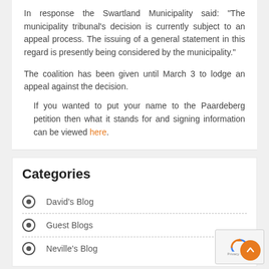In response the Swartland Municipality said: “The municipality tribunal’s decision is currently subject to an appeal process. The issuing of a general statement in this regard is presently being considered by the municipality.”
The coalition has been given until March 3 to lodge an appeal against the decision.
If you wanted to put your name to the Paardeberg petition then what it stands for and signing information can be viewed here.
Categories
David’s Blog
Guest Blogs
Neville’s Blog